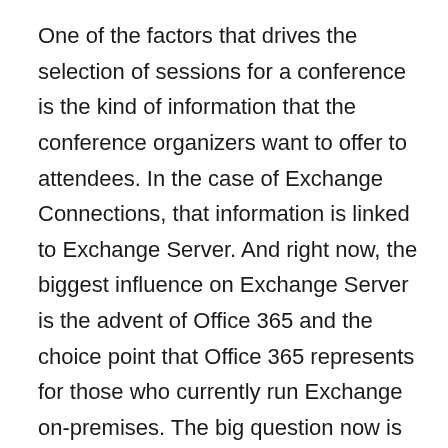One of the factors that drives the selection of sessions for a conference is the kind of information that the conference organizers want to offer to attendees. In the case of Exchange Connections, that information is linked to Exchange Server. And right now, the biggest influence on Exchange Server is the advent of Office 365 and the choice point that Office 365 represents for those who currently run Exchange on-premises. The big question now is whether to stay with the tried and tested traditional deployment and continue to run Exchange as in the past, keeping pace with Microsoft as they release new versions, service packs, and roll-up updates, or should they move to a hosted version of Exchange, either Microsoft's Office 365 or a similar offering from another service provider that can be more customized and refined to meet a company's needs than the all-in approach found in Office 365.